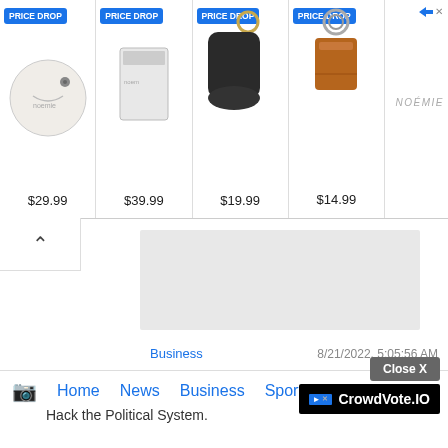[Figure (screenshot): Advertisement banner showing 4 products with PRICE DROP badges: round coin purse $29.99, card holder $39.99, AirPods case $19.99, keychain wallet $14.99. NOEMIE brand logo. Arrow and X close button on right side.]
Business
8/21/2022, 5:05:56 AM
Waterdrop Chows responded that the fundraising intermediary will take as much as 70%: non-platform draw
Business 2022/08/21
Home  News  Business  Sports
Hack the Political System.
CrowdVote.IO